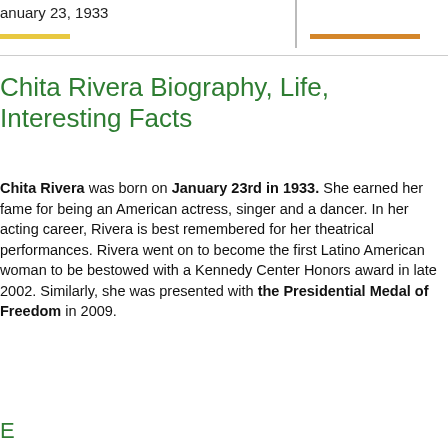January 23, 1933
Chita Rivera Biography, Life, Interesting Facts
Chita Rivera was born on January 23rd in 1933. She earned her fame for being an American actress, singer and a dancer. In her acting career, Rivera is best remembered for her theatrical performances. Rivera went on to become the first Latino American woman to be bestowed with a Kennedy Center Honors award in late 2002. Similarly, she was presented with the Presidential Medal of Freedom in 2009.
Early Life